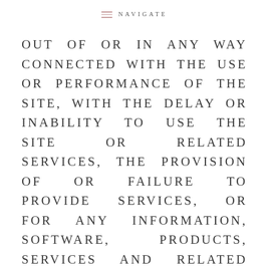NAVIGATE
OUT OF OR IN ANY WAY CONNECTED WITH THE USE OR PERFORMANCE OF THE SITE, WITH THE DELAY OR INABILITY TO USE THE SITE OR RELATED SERVICES, THE PROVISION OF OR FAILURE TO PROVIDE SERVICES, OR FOR ANY INFORMATION, SOFTWARE, PRODUCTS, SERVICES AND RELATED GRAPHICS OBTAINED THROUGH THE SITE, OR OTHERWISE ARISING OUT OF THE USE OF THE SITE, WHETHER BASED ON CONTRACT, TORT, NEGLIGENCE, STRICT LIABILITY OR OTHERWISE, EVEN IF MILK